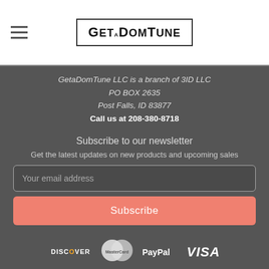GetaDomTune (logo with hamburger menu)
GetaDomTune LLC is a branch of 3ID LLC
PO BOX 2635
Post Falls, ID 83877
Call us at 208-380-8718
Subscribe to our newsletter
Get the latest updates on new products and upcoming sales
Your email address
Subscribe
[Figure (logo): Payment method logos: DISCOVER, MasterCard, PayPal, VISA]